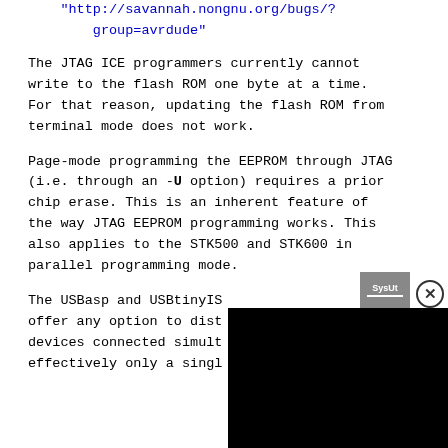"http://savannah.nongnu.org/bugs/?group=avrdude"
The JTAG ICE programmers currently cannot write to the flash ROM one byte at a time. For that reason, updating the flash ROM from terminal mode does not work.
Page-mode programming the EEPROM through JTAG (i.e. through an -U option) requires a prior chip erase. This is an inherent feature of the way JTAG EEPROM programming works. This also applies to the STK500 and STK600 in parallel programming mode.
The USBasp and USBtinyISP... offer any option to dist... devices connected simult... effectively only a singl...